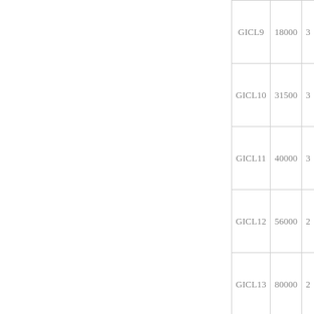| GICL9 | 18000 | 35... |
| GICL10 | 31500 | 32... |
| GICL11 | 40000 | 30... |
| GICL12 | 56000 | 26... |
| GICL13 | 80000 | 23... |